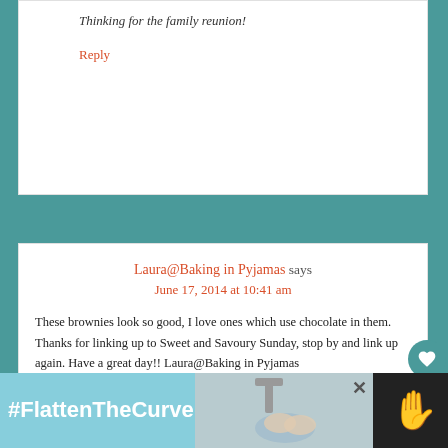Thinking for the family reunion!
Reply
Laura@Baking in Pyjamas says
June 17, 2014 at 10:41 am
These brownies look so good, I love ones which use chocolate in them. Thanks for linking up to Sweet and Savoury Sunday, stop by and link up again. Have a great day!! Laura@Baking in Pyjamas
Reply
[Figure (infographic): Advertisement banner with #FlattenTheCurve hashtag and handwashing image]
80